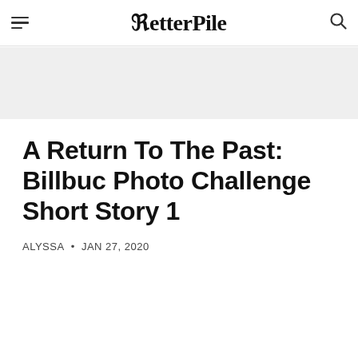LetterPile
A Return To The Past: Billbuc Photo Challenge Short Story 1
ALYSSA • JAN 27, 2020